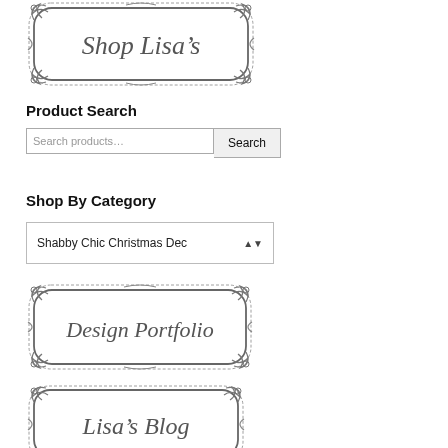[Figure (illustration): Ornate decorative frame badge with script text 'Shop Lisa's']
Product Search
[Figure (screenshot): Search input box with placeholder 'Search products…' and a Search button]
Shop By Category
[Figure (screenshot): Dropdown selector showing 'Shabby Chic Christmas Dec' with up/down arrows]
[Figure (illustration): Ornate decorative frame badge with script text 'Design Portfolio']
[Figure (illustration): Ornate decorative frame badge with script text 'Lisa's Blog']